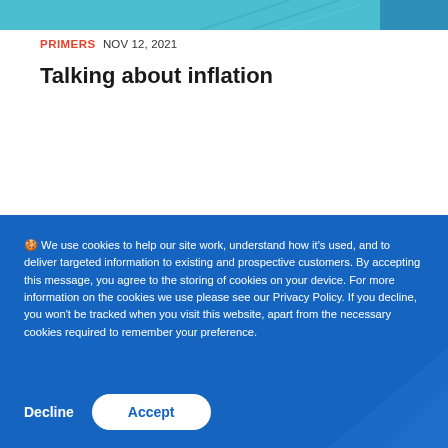[Figure (illustration): Partial teal/cyan colored decorative header image with geometric shapes]
PRIMERS NOV 12, 2021
Talking about inflation
🍪 We use cookies to help our site work, understand how it's used, and to deliver targeted information to existing and prospective customers. By accepting this message, you agree to the storing of cookies on your device. For more information on the cookies we use please see our Privacy Policy. If you decline, you won't be tracked when you visit this website, apart from the necessary cookies required to remember your preference.
Decline   Accept